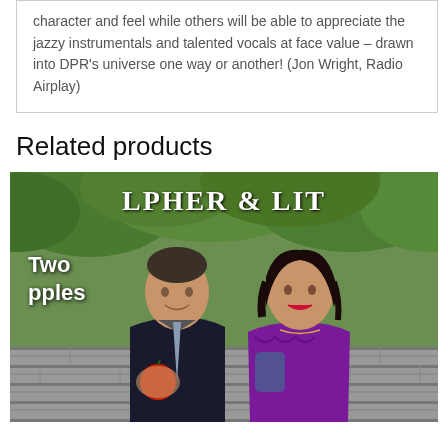character and feel while others will be able to appreciate the jazzy instrumentals and talented vocals at face value – drawn into DPR's universe one way or another! (Jon Wright, Radio Airplay)
Related products
[Figure (photo): Album cover for 'Alpher & Lit - Two Apples' showing two people (a man in a dark suit holding a red apple and a woman in a purple top) seated outdoors in front of stone wall with green foliage. Text reads 'LPHER & LIT' at top and 'Two pples' on the left side.]